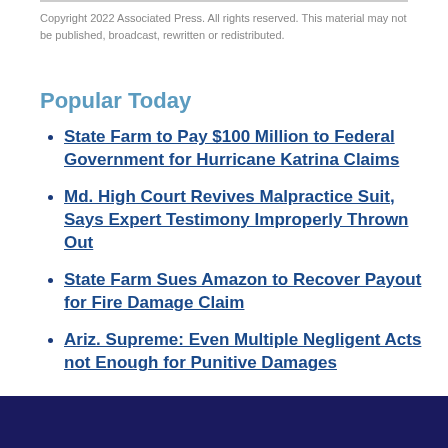Copyright 2022 Associated Press. All rights reserved. This material may not be published, broadcast, rewritten or redistributed.
Popular Today
State Farm to Pay $100 Million to Federal Government for Hurricane Katrina Claims
Md. High Court Revives Malpractice Suit, Says Expert Testimony Improperly Thrown Out
State Farm Sues Amazon to Recover Payout for Fire Damage Claim
Ariz. Supreme: Even Multiple Negligent Acts not Enough for Punitive Damages